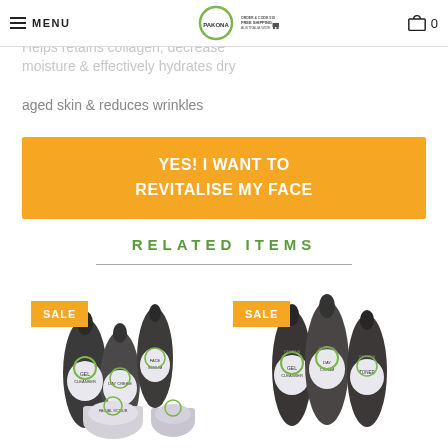MENU | Logo | FREE SHIPPING AUSTRALIA WIDE | Cart 0
Helps retrain collagen, decrease moisture & effectively hydrates dry aged skin & reduces wrinkles
YES! I WANT TO REVITALISE MY FACE
RELATED ITEMS
[Figure (photo): Product set with SALE badge - skincare bundle including gel cleanser, toner, day cream, face serum, and scrub]
[Figure (photo): Product set with SALE badge - skincare bundle including gel cleanser, day cream, and toner bottles]